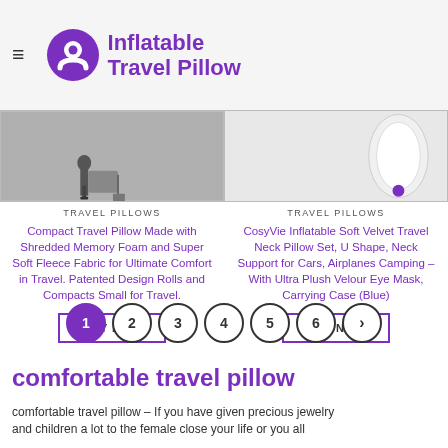Inflatable Travel Pillow
[Figure (photo): Two product images: left shows grayscale person walking with luggage, right shows white inflatable travel pillow.]
TRAVEL PILLOWS
Compact Travel Pillow Made with Shredded Memory Foam and Super Soft Fleece Fabric for Ultimate Comfort in Travel. Patented Design Rolls and Compacts Small for Travel.
TRAVEL PILLOWS
CosyVie Inflatable Soft Velvet Travel Neck Pillow Set, U Shape, Neck Support for Cars, Airplanes Camping – With Ultra Plush Velour Eye Mask, Carrying Case (Blue)
BUY NOW
BUY NOW
[Figure (other): Pagination control showing circles numbered 1 (active/filled purple), 2, 3, 4, 5, 6, and a right arrow.]
comfortable travel pillow
comfortable travel pillow – If you have given precious jewelry andchildren a lot to the female close your life or you all